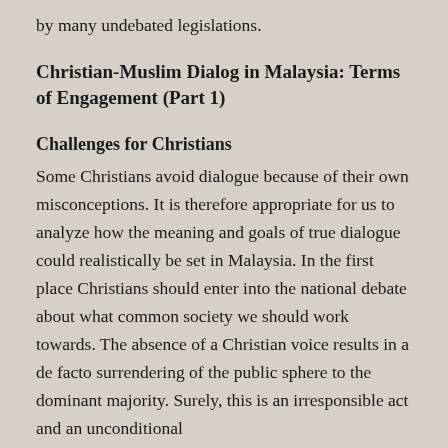by many undebated legislations.
Christian-Muslim Dialog in Malaysia: Terms of Engagement (Part 1)
Challenges for Christians
Some Christians avoid dialogue because of their own misconceptions. It is therefore appropriate for us to analyze how the meaning and goals of true dialogue could realistically be set in Malaysia. In the first place Christians should enter into the national debate about what common society we should work towards. The absence of a Christian voice results in a de facto surrendering of the public sphere to the dominant majority. Surely, this is an irresponsible act and an unconditional